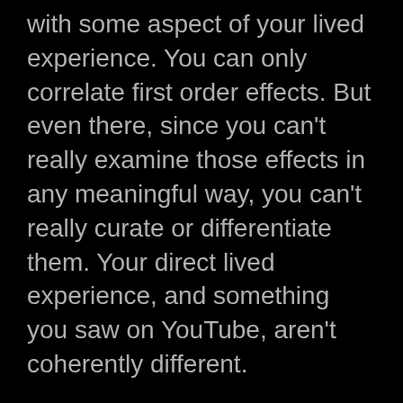with some aspect of your lived experience. You can only correlate first order effects. But even there, since you can't really examine those effects in any meaningful way, you can't really curate or differentiate them. Your direct lived experience, and something you saw on YouTube, aren't coherently different.

So you do what you can do, which is to react emotionally. You perceive that you lack, and you perceive that others have. And you generally understand that the people who have what you don't are forever going red in the face over Trump's antics, or Bojo's. And this seems good to you. All you can do is feel, and the way Trump and Bojo makes you feel is nice. They